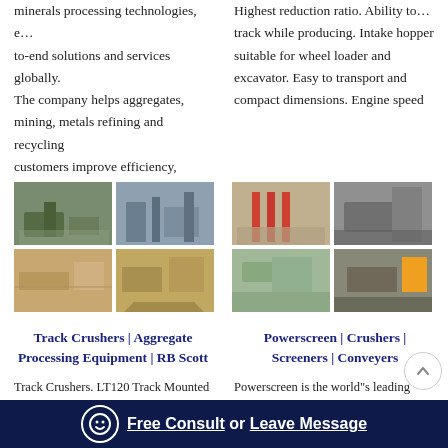minerals processing technologies, e… to-end solutions and services globally. The company helps aggregates, mining, metals refining and recycling customers improve efficiency,
Highest reduction ratio. Ability to… track while producing. Intake hopper suitable for wheel loader and excavator. Easy to transport and compact dimensions. Engine speed
[Figure (photo): Four-panel image grid showing mining/aggregate processing equipment and industrial facilities]
[Figure (photo): Four-panel image grid showing Powerscreen crushers, screeners and conveyor equipment at mining sites]
Track Crushers | Aggregate Processing Equipment | RB Scott
Powerscreen | Crushers | Screeners | Conveyers
Track Crushers. LT120 Track Mounted Jaw. Nordtrack J127 29" x 50" Trac… Mounted Jaw Crusher, Unit #1009.
Powerscreen is the world"s leading manufacturer of crushers, screeners,... and conveyors for the aggregates, recycling, and mining industries.
LT130 Track Mounted Jaw.
Free Consult  or  Leave Message